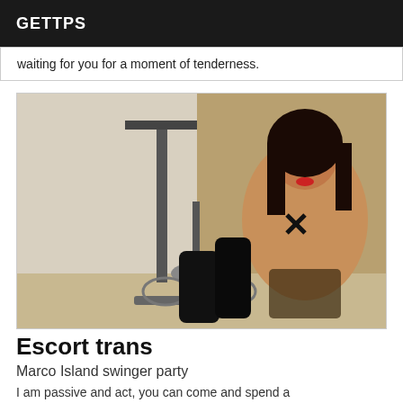GETTPS
waiting for you for a moment of tenderness.
[Figure (photo): A person posing in a room with an exercise bike, wearing black boots and lingerie.]
Escort trans
Marco Island swinger party
I am passive and act, you can come and spend a